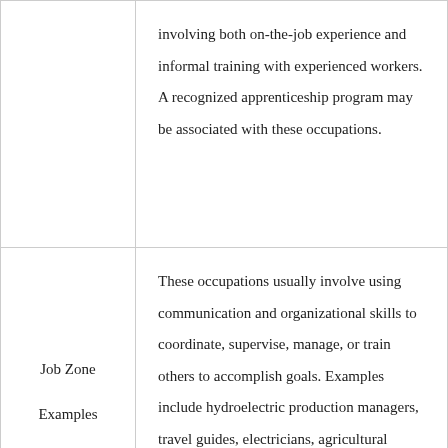|  | involving both on-the-job experience and informal training with experienced workers. A recognized apprenticeship program may be associated with these occupations. |
| Job Zone Examples | These occupations usually involve using communication and organizational skills to coordinate, supervise, manage, or train others to accomplish goals. Examples include hydroelectric production managers, travel guides, electricians, agricultural technicians, barbers, court reporters, and medical |